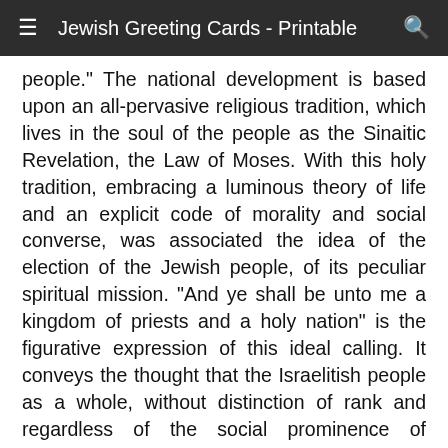≡  Jewish Greeting Cards - Printable  🔍
people." The national development is based upon an all-pervasive religious tradition, which lives in the soul of the people as the Sinaitic Revelation, the Law of Moses. With this holy tradition, embracing a luminous theory of life and an explicit code of morality and social converse, was associated the idea of the election of the Jewish people, of its peculiar spiritual mission. "And ye shall be unto me a kingdom of priests and a holy nation" is the figurative expression of this ideal calling. It conveys the thought that the Israelitish people as a whole, without distinction of rank and regardless of the social prominence of individuals, has been called to guide the other nations toward sublime moral and religious principles, and to officiate for them, the laity as it were, in the capacity of priests. This exalted ideal would never have been reached, if the development of the Jewish people had lain along hackneyed lines; if, like the Egyptians and the